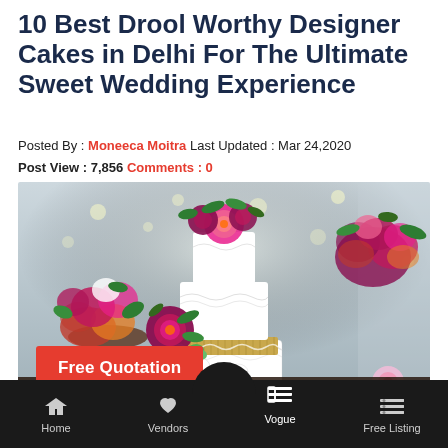10 Best Drool Worthy Designer Cakes in Delhi For The Ultimate Sweet Wedding Experience
Posted By : Moneeca Moitra  Last Updated : Mar 24,2020
Post View : 7,856  Comments : 0
[Figure (photo): A white three-tier wedding cake decorated with pink and magenta peony flowers and green leaves, with a gold/burlap middle tier accent, displayed on a dark surface. Pink and magenta flower arrangements flank the cake on left and right. String fairy lights visible in the background.]
Free Quotation
Home  Vendors  Vogue  Free Listing